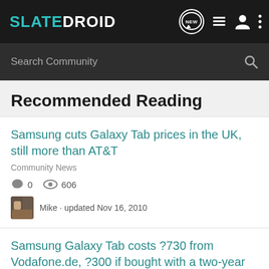SLATEDROID
Search Community
Recommended Reading
Samsung cuts Galaxy Tab prices in the UK, still more than AT&T
Community News
0   606
Mike · updated Nov 16, 2010
Samsung Galaxy Tab costs ?730 from Vodafone.de, ?300 if bought with a two-year data p